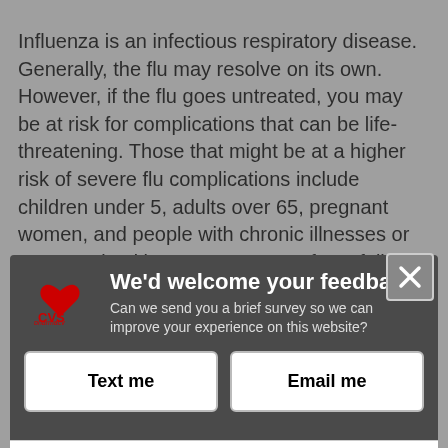Influenza is an infectious respiratory disease. Generally, the flu may resolve on its own. However, if the flu goes untreated, you may be at risk for complications that can be life-threatening. Those that might be at a higher risk of severe flu complications include children under 5, adults over 65, pregnant women, and people with chronic illnesses or compromised immune systems. If you fall into any of these categories, it is essential that you take strides towards flu prevention by getting your flu shot at MinuteClinic. The flu shot works by exposing you to an inactive flu virus and the flu vaccines cause antibodies to develop in the body after vaccination. These antibodies will help to protect you if you are exposed to the flu virus. Essentially, getting a flu
[Figure (screenshot): CVS Pharmacy feedback modal overlay with 'We'd welcome your feedback!' heading, options to receive Text me or Email me survey, and 'Powered by Verint Experience Cloud' footer link. Has a close (X) button in top right.]